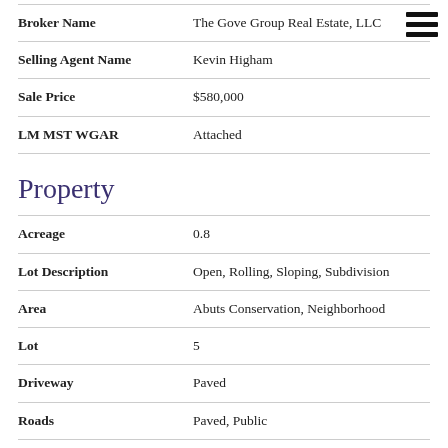| Field | Value |
| --- | --- |
| Broker Name | The Gove Group Real Estate, LLC |
| Selling Agent Name | Kevin Higham |
| Sale Price | $580,000 |
| LM MST WGAR | Attached |
Property
| Field | Value |
| --- | --- |
| Acreage | 0.8 |
| Lot Description | Open, Rolling, Sloping, Subdivision |
| Area | Abuts Conservation, Neighborhood |
| Lot | 5 |
| Driveway | Paved |
| Roads | Paved, Public |